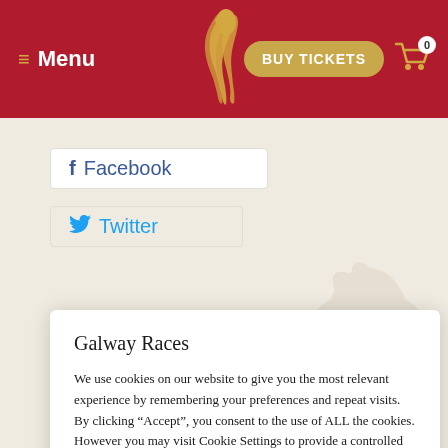Menu | BUY TICKETS | 0
[Figure (logo): Golden horse logo on red navigation bar]
f Facebook
Twitter
Galway Races
We use cookies on our website to give you the most relevant experience by remembering your preferences and repeat visits. By clicking “Accept”, you consent to the use of ALL the cookies. However you may visit Cookie Settings to provide a controlled consent.
Cookie settings    ACCEPT